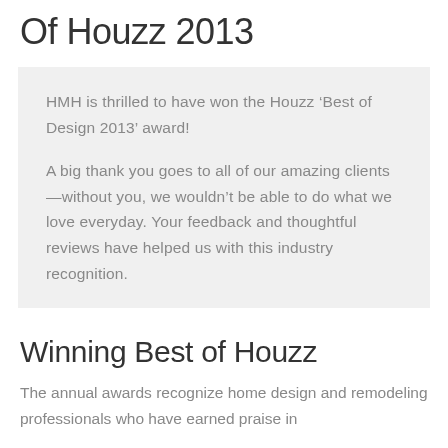Of Houzz 2013
HMH is thrilled to have won the Houzz ‘Best of Design 2013’ award!

A big thank you goes to all of our amazing clients—without you, we wouldn’t be able to do what we love everyday. Your feedback and thoughtful reviews have helped us with this industry recognition.
Winning Best of Houzz
The annual awards recognize home design and remodeling professionals who have earned praise in